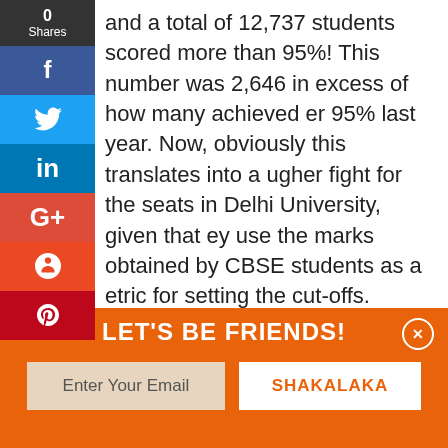[Figure (infographic): Social media share sidebar with Facebook, Twitter, LinkedIn, Google+, StumbleUpon, Pinterest icons and 0 Shares count]
and a total of 12,737 students scored more than 95%! This number was 2,646 in excess of how many achieved er 95% last year. Now, obviously this translates into a ugher fight for the seats in Delhi University, given that ey use the marks obtained by CBSE students as a etric for setting the cut-offs.

obviously, students are not very happy about the uation, since it results in unrealistically high cut-off rcentages which most students are not able to meet. st year, for instance, the cut-offs went as high as .66%!
LET'S BE FRIENDS!
Enter Your Email
SHAKALAKA